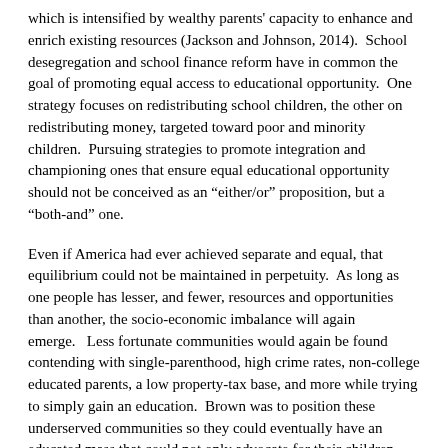which is intensified by wealthy parents' capacity to enhance and enrich existing resources (Jackson and Johnson, 2014).  School desegregation and school finance reform have in common the goal of promoting equal access to educational opportunity.  One strategy focuses on redistributing school children, the other on redistributing money, targeted toward poor and minority children.  Pursuing strategies to promote integration and championing ones that ensure equal educational opportunity should not be conceived as an “either/or” proposition, but a “both-and” one.
Even if America had ever achieved separate and equal, that equilibrium could not be maintained in perpetuity.  As long as one people has lesser, and fewer, resources and opportunities than another, the socio-economic imbalance will again emerge.   Less fortunate communities would again be found contending with single-parenthood, high crime rates, non-college educated parents, a low property-tax base, and more while trying to simply gain an education.  Brown was to position these underserved communities so they could eventually have an educated mass that could not only advocate for their children with confidence, but they could advocate for the very principles from which all children could benefit.
As we look for solutions to address the achievement gap, I am reminded of the story of the many people that for their just due, had to do more to...